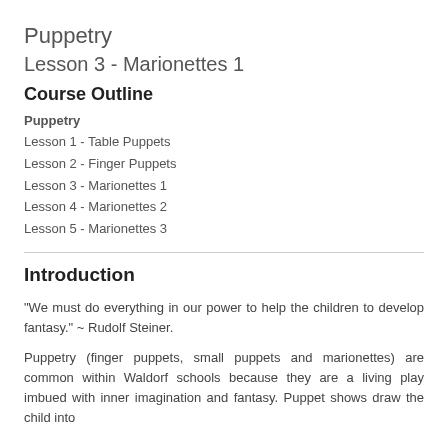Puppetry
Lesson 3 - Marionettes 1
Course Outline
Puppetry
Lesson 1 - Table Puppets
Lesson 2 - Finger Puppets
Lesson 3 - Marionettes 1
Lesson 4 - Marionettes 2
Lesson 5 - Marionettes 3
Introduction
“We must do everything in our power to help the children to develop fantasy.” ~ Rudolf Steiner.
Puppetry (finger puppets, small puppets and marionettes) are common within Waldorf schools because they are a living play imbued with inner imagination and fantasy. Puppet shows draw the child into